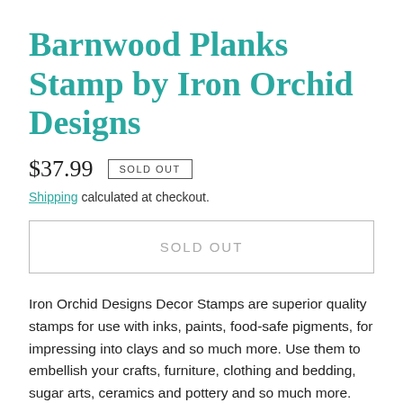Barnwood Planks Stamp by Iron Orchid Designs
$37.99  SOLD OUT
Shipping calculated at checkout.
SOLD OUT
Iron Orchid Designs Decor Stamps are superior quality stamps for use with inks, paints, food-safe pigments, for impressing into clays and so much more. Use them to embellish your crafts, furniture, clothing and bedding, sugar arts, ceramics and pottery and so much more. See videos on our page and on YouTube to learn more. Use the Barnwood Plank stamp set on your walls, adding a rustic detail behind your sign or plaque and for